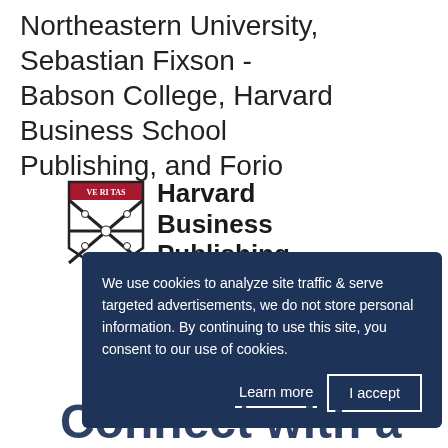Northeastern University, Sebastian Fixson - Babson College, Harvard Business School Publishing, and Forio
[Figure (logo): Harvard Business Publishing Education logo with shield emblem]
We use cookies to analyze site traffic & serve targeted advertisements, we do not store personal information. By continuing to use this site, you consent to our use of cookies.
Learn more   I accept
Connect with a